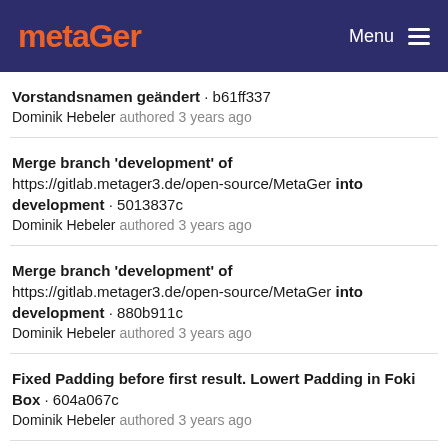metaGer | Menu
Vorstandsnamen geändert · b61ff337
Dominik Hebeler authored 3 years ago
Merge branch 'development' of https://gitlab.metager3.de/open-source/MetaGer into development · 5013837c
Dominik Hebeler authored 3 years ago
Merge branch 'development' of https://gitlab.metager3.de/open-source/MetaGer into development · 880b911c
Dominik Hebeler authored 3 years ago
Fixed Padding before first result. Lowert Padding in Foki Box · 604a067c
Dominik Hebeler authored 3 years ago
Fixed Padding before first result. Lowert Padding in Foki Box · 9fb59f75